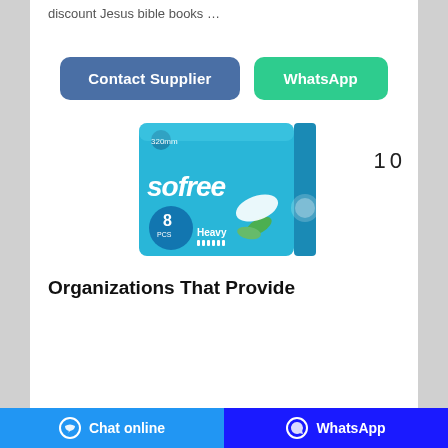discount Jesus bible books …
[Figure (screenshot): Contact Supplier and WhatsApp buttons]
10
[Figure (photo): Sofree sanitary pads package, 320mm, 8 pcs Heavy]
Organizations That Provide
Chat online   WhatsApp